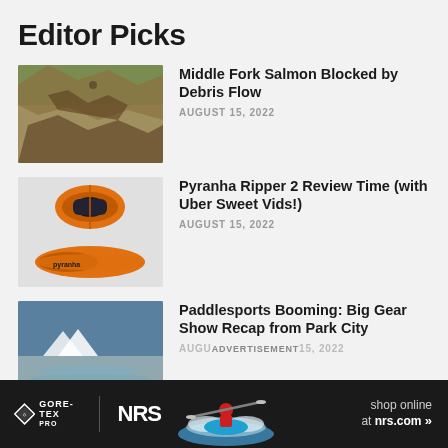Editor Picks
Middle Fork Salmon Blocked by Debris Flow — AUGUST 15, 2022
Pyranha Ripper 2 Review Time (with Uber Sweet Vids!) — AUGUST 15, 2022
Paddlesports Booming: Big Gear Show Recap from Park City — AUGUST 15, 2022
[Figure (photo): Advertisement banner: GORE-TEX PRO and NRS logos with kayaker paddling through whitewater, text: shop online at nrs.com]
Advertisement